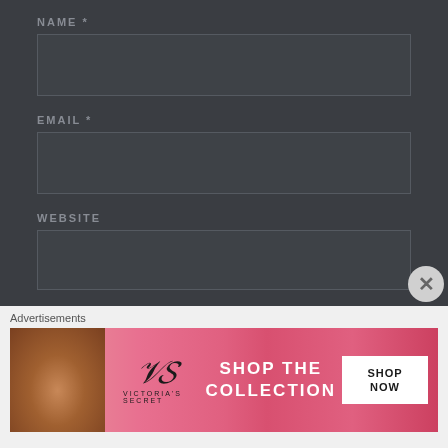NAME *
[Figure (screenshot): Empty text input field for NAME]
EMAIL *
[Figure (screenshot): Empty text input field for EMAIL]
WEBSITE
[Figure (screenshot): Empty text input field for WEBSITE]
[Figure (screenshot): POST COMMENT button]
Advertisements
[Figure (screenshot): Victoria's Secret advertisement banner: SHOP THE COLLECTION - SHOP NOW]